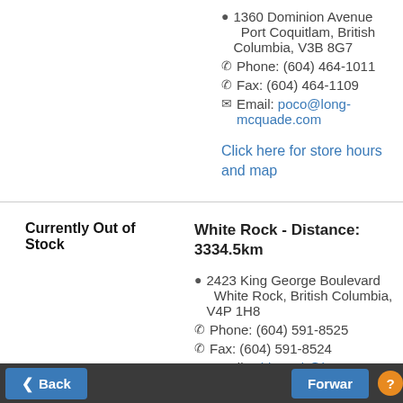📍 1360 Dominion Avenue Port Coquitlam, British Columbia, V3B 8G7 ☎ Phone: (604) 464-1011 ☎ Fax: (604) 464-1109 ✉ Email: poco@long-mcquade.com
Click here for store hours and map
Currently Out of Stock
White Rock - Distance: 3334.5km
📍 2423 King George Boulevard White Rock, British Columbia, V4P 1H8 ☎ Phone: (604) 591-8525 ☎ Fax: (604) 591-8524 ✉ Email: whiterock@long-...
Back   Forward